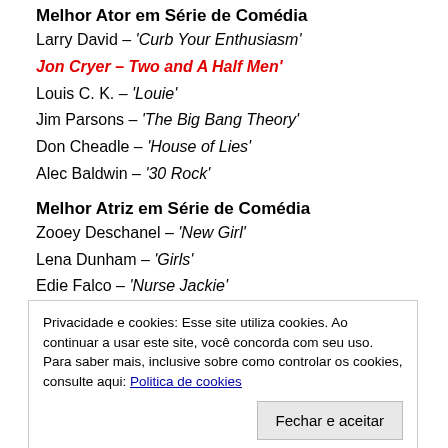Melhor Ator em Série de Comédia
Larry David – 'Curb Your Enthusiasm'
Jon Cryer – Two and A Half Men' [winner]
Louis C. K. – 'Louie'
Jim Parsons – 'The Big Bang Theory'
Don Cheadle – 'House of Lies'
Alec Baldwin – '30 Rock'
Melhor Atriz em Série de Comédia
Zooey Deschanel – 'New Girl'
Lena Dunham – 'Girls'
Edie Falco – 'Nurse Jackie'
Privacidade e cookies: Esse site utiliza cookies. Ao continuar a usar este site, você concorda com seu uso.
Para saber mais, inclusive sobre como controlar os cookies, consulte aqui: Politica de cookies
Fechar e aceitar
Melhor Atriz em Série de Comédia